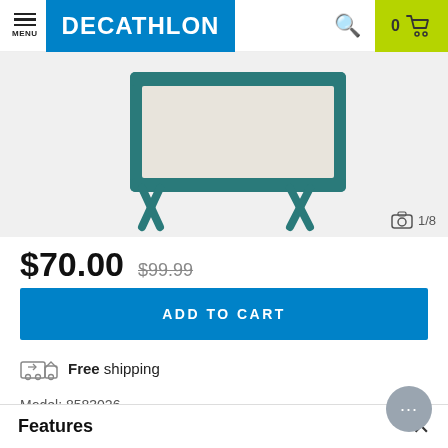MENU | DECATHLON | 0 [cart]
[Figure (photo): Partial product image showing a teal/green folding camping cot or bed frame with white fabric, viewed from the top-front angle.]
$70.00  $99.99
ADD TO CART
Free shipping
Model: 8583026
$70.00  ADD TO CART
Features